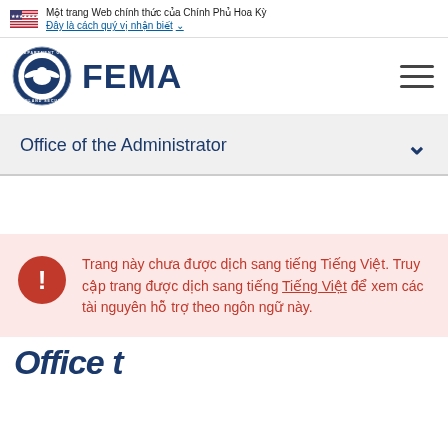Một trang Web chính thức của Chính Phủ Hoa Kỳ
Đây là cách quý vị nhận biết
[Figure (logo): FEMA logo with DHS seal and FEMA wordmark]
Office of the Administrator
Trang này chưa được dịch sang tiếng Tiếng Việt. Truy cập trang được dịch sang tiếng Tiếng Việt để xem các tài nguyên hỗ trợ theo ngôn ngữ này.
Office t...